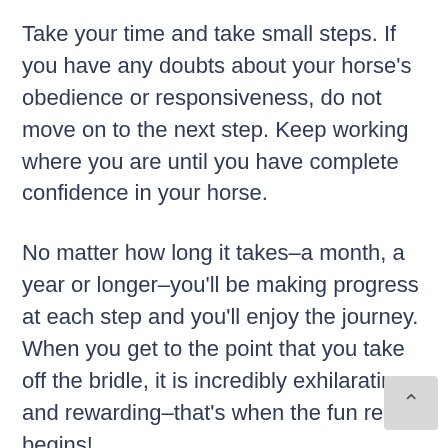Take your time and take small steps. If you have any doubts about your horse's obedience or responsiveness, do not move on to the next step. Keep working where you are until you have complete confidence in your horse.
No matter how long it takes–a month, a year or longer–you'll be making progress at each step and you'll enjoy the journey. When you get to the point that you take off the bridle, it is incredibly exhilarating and rewarding–that's when the fun really begins!